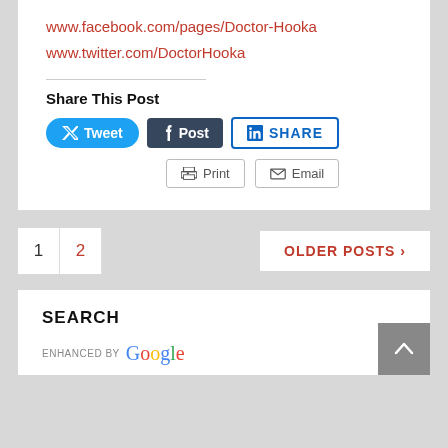www.facebook.com/pages/Doctor-Hooka
www.twitter.com/DoctorHooka
Share This Post
[Figure (screenshot): Social share buttons: Tweet (Twitter/X), Post (Tumblr), SHARE (LinkedIn), Print, Email]
1  2
OLDER POSTS >
SEARCH
ENHANCED BY Google